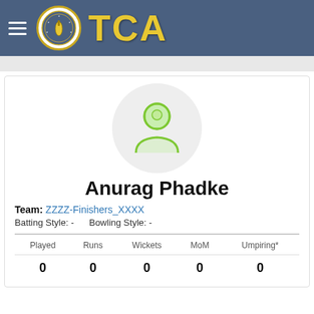TCA
[Figure (illustration): Generic user/person placeholder avatar icon in green outline style inside a light grey circle]
Anurag Phadke
Team: ZZZZ-Finishers_XXXX
Batting Style: -    Bowling Style: -
| Played | Runs | Wickets | MoM | Umpiring* |
| --- | --- | --- | --- | --- |
| 0 | 0 | 0 | 0 | 0 |